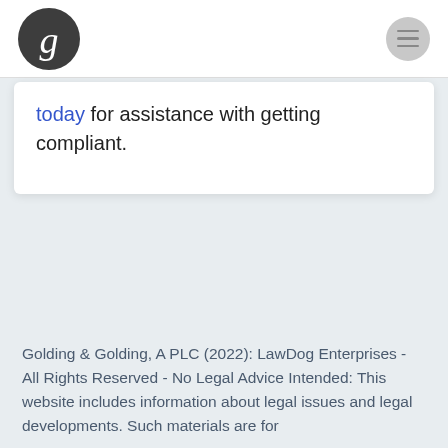[Figure (logo): Circular dark grey logo with white italic letter g]
today for assistance with getting compliant.
Golding & Golding, A PLC (2022): LawDog Enterprises - All Rights Reserved - No Legal Advice Intended: This website includes information about legal issues and legal developments. Such materials are for